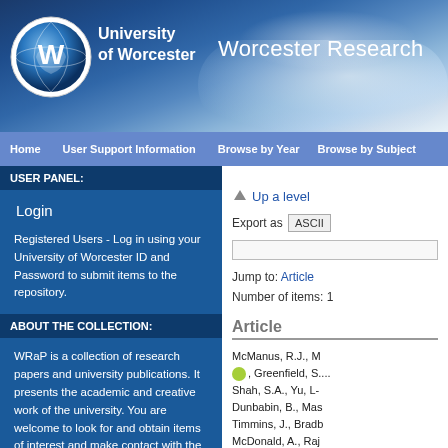[Figure (logo): University of Worcester logo with globe/letter W icon, and header text reading 'Worcester Research']
University of Worcester | Worcester Research
Home | User Support Information | Browse by Year | Browse by Subject
USER PANEL:
Login
Registered Users - Log in using your University of Worcester ID and Password to submit items to the repository.
ABOUT THE COLLECTION:
WRaP is a collection of research papers and university publications. It presents the academic and creative work of the university. You are welcome to look for and obtain items of interest and make contact with the authors and creators.
CONTACT DETAILS:
All correspondence about WRaP
Up a level
Export as ASCII
Jump to: Article
Number of items: 1
Article
McManus, R.J., M..., Greenfield, S...., Shah, S.A., Yu, L-..., Dunbabin, B., Mas..., Timmins, J., Bradb..., McDonald, A., Raj..., Willia, H., M...